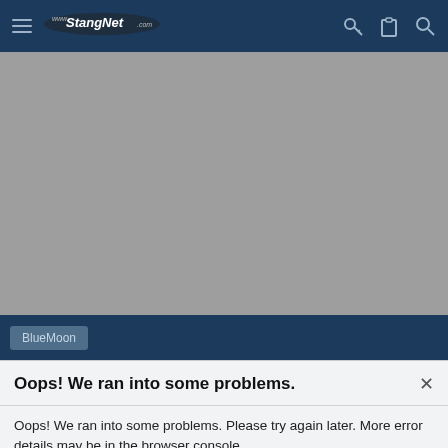www.StangNet.com — navigation header with hamburger menu and icons
[Figure (screenshot): Gray placeholder content area representing a webpage image or ad that failed to load]
BlueMoon
Oops! We ran into some problems.
Oops! We ran into some problems. Please try again later. More error details may be in the browser console.